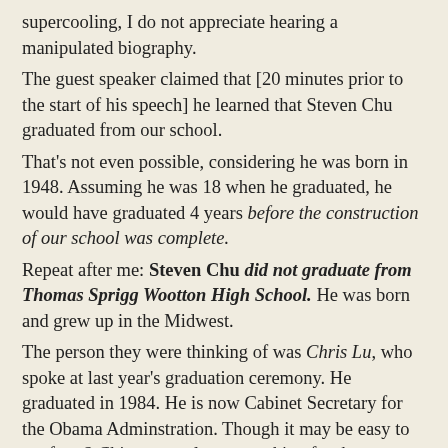supercooling, I do not appreciate hearing a manipulated biography.
The guest speaker claimed that [20 minutes prior to the start of his speech] he learned that Steven Chu graduated from our school.
That's not even possible, considering he was born in 1948. Assuming he was 18 when he graduated, he would have graduated 4 years before the construction of our school was complete.
Repeat after me: Steven Chu did not graduate from Thomas Sprigg Wootton High School. He was born and grew up in the Midwest.
The person they were thinking of was Chris Lu, who spoke at last year's graduation ceremony. He graduated in 1984. He is now Cabinet Secretary for the Obama Adminstration. Though it may be easy to confuse 2 Chinese gentlemen working for the Administration, they work in completely different fields. Anyway, Chris Lu is the only member of the Administration who graduated from this school.]
...but the execution was bad beyond belief. The SGA seems to have gotten so many facts wrong and makes such